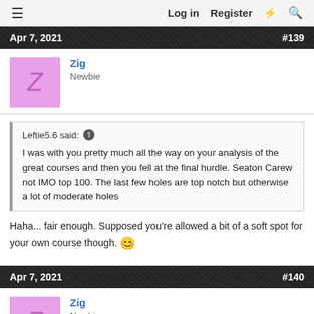☰  Log in  Register  ⚡  🔍
Apr 7, 2021  #139
Zig
Newbie
Leftie5.6 said: ↑
I was with you pretty much all the way on your analysis of the great courses and then you fell at the final hurdle. Seaton Carew not IMO top 100. The last few holes are top notch but otherwise a lot of moderate holes
Haha... fair enough. Supposed you're allowed a bit of a soft spot for your own course though. 🙂
Apr 7, 2021  #140
Zig
Newbie